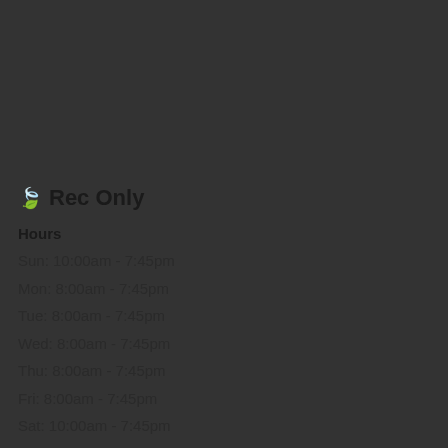🍃 Rec Only
Hours
Sun: 10:00am - 7:45pm
Mon: 8:00am - 7:45pm
Tue: 8:00am - 7:45pm
Wed: 8:00am - 7:45pm
Thu: 8:00am - 7:45pm
Fri: 8:00am - 7:45pm
Sat: 10:00am - 7:45pm
Address
11 W Hampden Ave #103